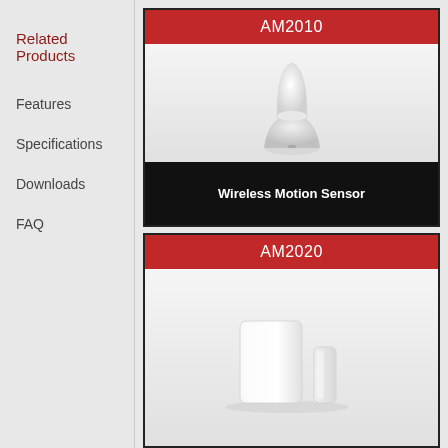Related Products
Features
Specifications
Downloads
FAQ
[Figure (photo): AM2010 Wireless Motion Sensor product card with red header, white product photo on grey gradient background, and black label bar reading 'Wireless Motion Sensor']
[Figure (photo): AM2020 product card with red header and white door sensor components on grey gradient background]